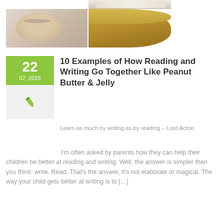[Figure (photo): Top collage: open book photo (top right), child reading (bottom left), bread/peanut butter close-up (bottom right)]
10 Examples of How Reading and Writing Go Together Like Peanut Butter & Jelly
Learn as much by writing as by reading – Lord Acton
I'm often asked by parents how they can help their children be better at reading and writing. Well, the answer is simpler than you think: write. Read. That's the answer, it's not elaborate or magical. The way your child gets better at writing is to […]